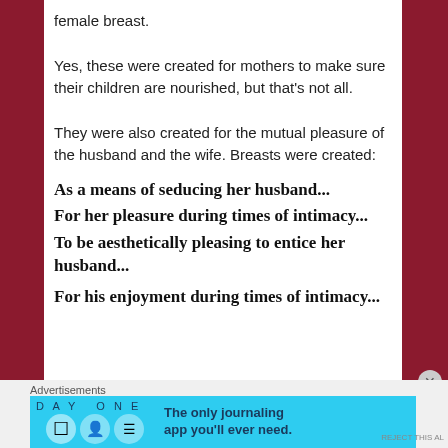female breast.
Yes, these were created for mothers to make sure their children are nourished, but that's not all.
They were also created for the mutual pleasure of the husband and the wife. Breasts were created:
As a means of seducing her husband...
For her pleasure during times of intimacy...
To be aesthetically pleasing to entice her husband...
For his enjoyment during times of intimacy...
[Figure (screenshot): Advertisement banner for Day One journaling app with light blue background, app icons, and text 'The only journaling app you'll ever need.']